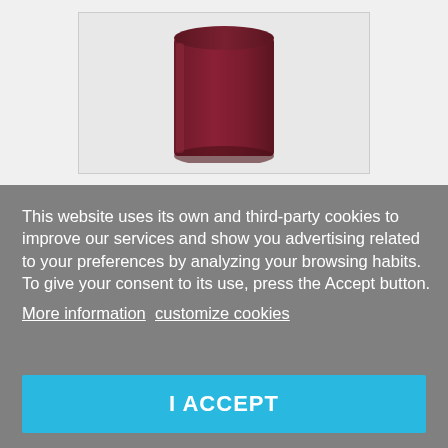[Figure (photo): A dark red/maroon cylindrical object (mug or canister) photographed against a light gray background, shown cropped from the top portion of the page.]
This website uses its own and third-party cookies to improve our services and show you advertising related to your preferences by analyzing your browsing habits. To give your consent to its use, press the Accept button. More information customize cookies